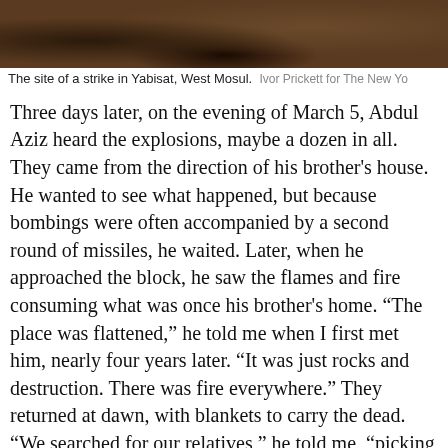[Figure (photo): Photo of a strike site in Yabisat, West Mosul — rubble and debris in dark earthy tones]
The site of a strike in Yabisat, West Mosul.  Ivor Prickett for The New Yo
Three days later, on the evening of March 5, Abdul Aziz heard the explosions, maybe a dozen in all. They came from the direction of his brother's house. He wanted to see what happened, but because bombings were often accompanied by a second round of missiles, he waited. Later, when he approached the block, he saw the flames and fire consuming what was once his brother's home. “The place was flattened,” he told me when I first met him, nearly four years later. “It was just rocks and destruction. There was fire everywhere.” They returned at dawn, with blankets to carry the dead. “We searched for our relatives,” he told me, “picking them up piece by piece and wrapping them.”
Across town, Ali Younes Muhammad Sultan, Sawsan’s father, heard the news from his brother. Everyone at the dinner had been killed: Zeidan and his wife, Nofa; Araj,